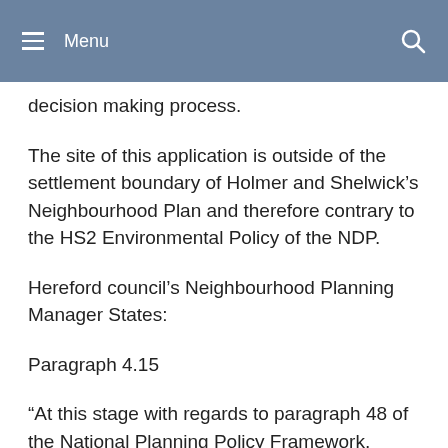Menu
decision making process.
The site of this application is outside of the settlement boundary of Holmer and Shelwick’s Neighbourhood Plan and therefore contrary to the HS2 Environmental Policy of the NDP.
Hereford council’s Neighbourhood Planning Manager States:
Paragraph 4.15
“At this stage with regards to paragraph 48 of the National Planning Policy Framework, moderate weight can be attributed to the Holmer and Shelwick Neighbourhood Plan.”